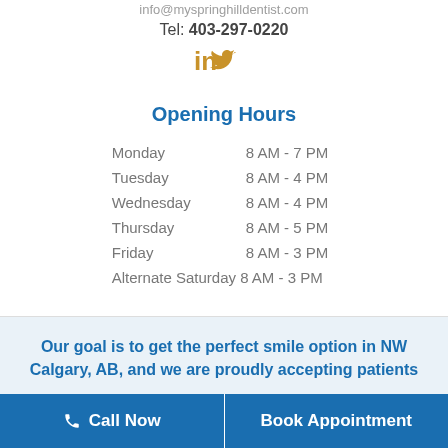info@myspringhilldentist.com
Tel: 403-297-0220
[Figure (infographic): LinkedIn and Twitter social media icons in golden/amber color]
Opening Hours
| Day | Hours |
| --- | --- |
| Monday | 8 AM - 7 PM |
| Tuesday | 8 AM - 4 PM |
| Wednesday | 8 AM - 4 PM |
| Thursday | 8 AM - 5 PM |
| Friday | 8 AM - 3 PM |
| Alternate Saturday | 8 AM - 3 PM |
Our goal is to get the perfect smile option in NW Calgary, AB, and we are proudly accepting patients
Call Now
Book Appointment